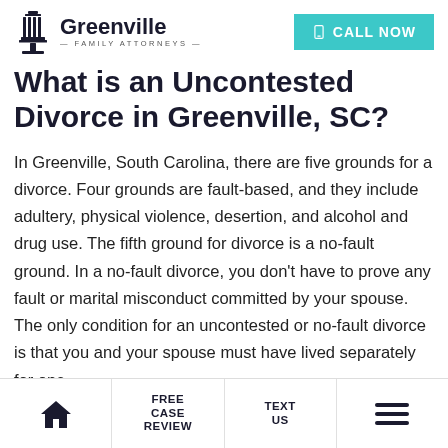Greenville Family Attorneys — CALL NOW
What is an Uncontested Divorce in Greenville, SC?
In Greenville, South Carolina, there are five grounds for a divorce. Four grounds are fault-based, and they include adultery, physical violence, desertion, and alcohol and drug use. The fifth ground for divorce is a no-fault ground. In a no-fault divorce, you don't have to prove any fault or marital misconduct committed by your spouse. The only condition for an uncontested or no-fault divorce is that you and your spouse must have lived separately for one
FREE CASE REVIEW | TEXT US | (home icon) | (menu icon)